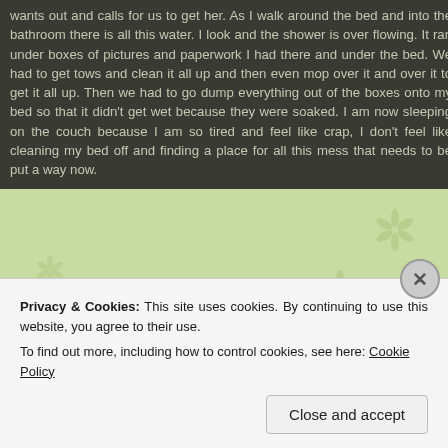[Figure (illustration): Light green background with decorative flower/asterisk pattern repeated across the right side of the page]
wants out and calls for us to get her. As I walk around the bed and into the bathroom there is all this water. I look and the shower is over flowing. It ran under boxes of pictures and paperwork I had there and under the bed. We had to get tows and clean it all up and then even mop over it and over it to get it all up. Then we had to go dump everything out of the boxes onto my bed so that it didn't get wet because they were soaked. I am now sleeping on the couch because I am so tired and feel like crap, I don't feel like cleaning my bed off and finding a place for all this mess that needs to be put a way now.
Privacy & Cookies: This site uses cookies. By continuing to use this website, you agree to their use.
To find out more, including how to control cookies, see here: Cookie Policy
Close and accept